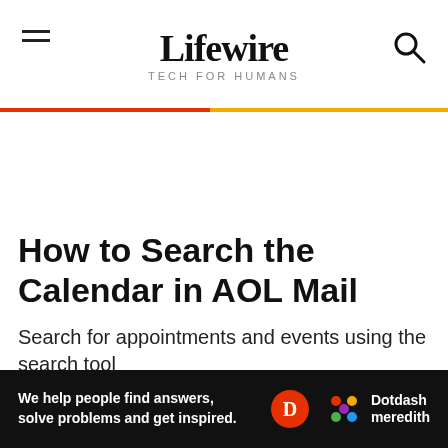Lifewire — TECH FOR HUMANS
How to Search the Calendar in AOL Mail
Search for appointments and events using the search tool
[Figure (logo): Dotdash Meredith advertisement banner: We help people find answers, solve problems and get inspired.]